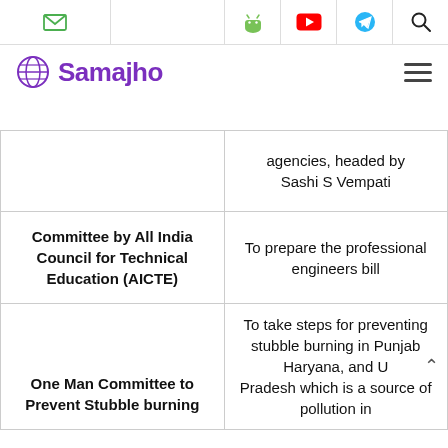Samajho - navigation bar with icons: envelope, Android, YouTube, Telegram, Search
| Committee | Purpose |
| --- | --- |
|  | agencies, headed by Sashi S Vempati |
| Committee by All India Council for Technical Education (AICTE) | To prepare the professional engineers bill |
| One Man Committee to Prevent Stubble burning | To take steps for preventing stubble burning in Punjab Haryana, and U Pradesh which is a source of pollution in |